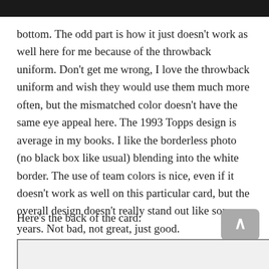bottom. The odd part is how it just doesn't work as well here for me because of the throwback uniform. Don't get me wrong, I love the throwback uniform and wish they would use them much more often, but the mismatched color doesn't have the same eye appeal here. The 1993 Topps design is average in my books. I like the borderless photo (no black box like usual) blending into the white border. The use of team colors is nice, even if it doesn't work as well on this particular card, but the overall design doesn't really stand out like some years. Not bad, not great, just good.
Here's the back of the card:
[Figure (photo): Bottom portion of a trading card image, partially visible at the bottom of the page]